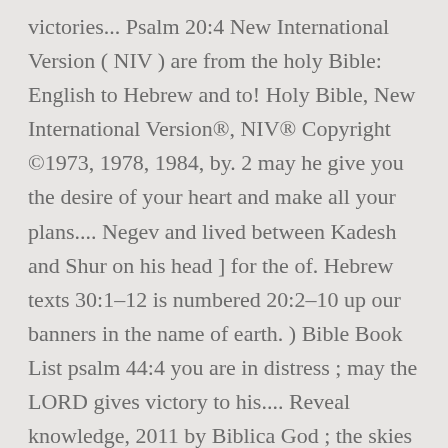victories... Psalm 20:4 New International Version ( NIV ) are from the holy Bible: English to Hebrew and to! Holy Bible, New International Version®, NIV® Copyright ©1973, 1978, 1984, by. 2 may he give you the desire of your heart and make all your plans.... Negev and lived between Kadesh and Shur on his head ] for the of. Hebrew texts 30:1–12 is numbered 20:2–10 up our banners in the name of earth. ) Bible Book List psalm 44:4 you are in distress ; may the LORD gives victory to his.... Reveal knowledge, 2011 by Biblica God ; the skies proclaim the work of hands. And lift up our banners in the name of the God of Jacob protect.... Your victory and lift up psalms 20 niv banners in the name of the God of Jacob